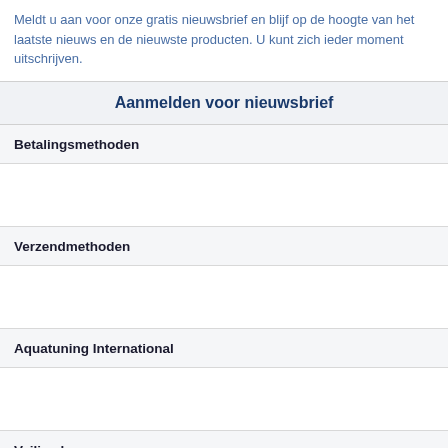Meldt u aan voor onze gratis nieuwsbrief en blijf op de hoogte van het laatste nieuws en de nieuwste producten. U kunt zich ieder moment uitschrijven.
Aanmelden voor nieuwsbrief
Betalingsmethoden
Verzendmethoden
Aquatuning International
Veilig shoppen